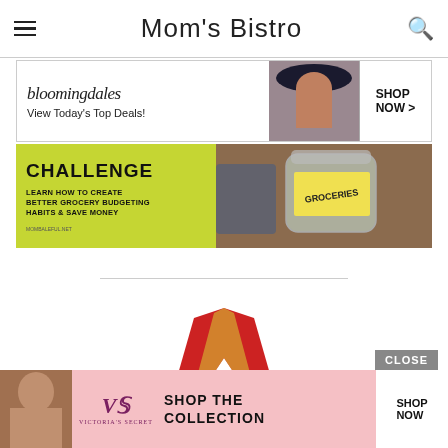Mom's Bistro
[Figure (screenshot): Bloomingdales advertisement banner: bloomingdales logo, 'View Today's Top Deals!' text, model in hat, SHOP NOW button]
[Figure (screenshot): Challenge banner: yellow-green left panel with 'CHALLENGE' and 'LEARN HOW TO CREATE BETTER GROCERY BUDGETING HABITS & SAVE MONEY', right panel with jar labeled GROCERIES]
[Figure (photo): Partial medal with red and gold ribbon, visible from below the divider]
[Figure (screenshot): Victoria's Secret advertisement: model photo, VS logo, 'SHOP THE COLLECTION', SHOP NOW button, CLOSE button overlay]